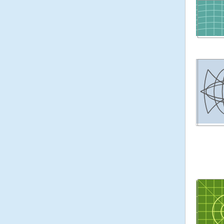[Figure (illustration): User avatar - teal grid/wave pattern]
Posted by: Mike Michaelson | April 29, 2008 a...
[Figure (illustration): User avatar - dark intersecting curves on light background]
I'm part of the third group but decided... value I get out of it. Thanks for the fa...
Posted by: Rack | April 29, 2008 at 05:25 AM...
[Figure (illustration): User avatar - green geometric star/grid pattern]
You are completely wrong about the t... more than a tool usually don't have th... speeds. And from my perspective eve... definiton be an ultra-techie because,... new computer.
But even that's not the whole story be... a brand new PC on my desk, but at h... at home I control what's installed on m... have no desire to embrace the new s...
Thanks for the new fast link, I'll use th... traffic leaves the new site and hits the...
Posted by: Paul Dove | April 29, 2008 at 04:3...